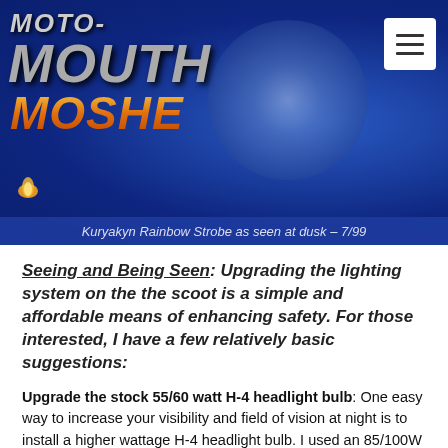[Figure (photo): Moto-Mouth Moshe website header with logo on blue background showing a motorcycle headlight]
Kuryakyn Rainbow Strobe as seen at dusk – 7/99
Seeing and Being Seen: Upgrading the lighting system on the the scoot is a simple and affordable means of enhancing safety. For those interested, I have a few relatively basic suggestions:
Upgrade the stock 55/60 watt H-4 headlight bulb: One easy way to increase your visibility and field of vision at night is to install a higher wattage H-4 headlight bulb. I used an 85/100W bulb for years, until I installed a fog lamp kit (see below) and had to scale back the wattage of the headlight bulb to avoid overtaxing my electrical system. The difference in lighting power from 85/100W vs.